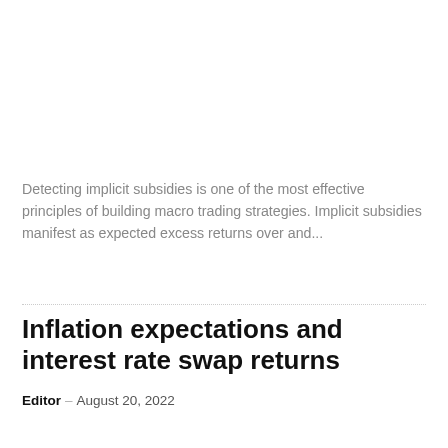Detecting implicit subsidies is one of the most effective principles of building macro trading strategies. Implicit subsidies manifest as expected excess returns over and...
Inflation expectations and interest rate swap returns
Editor – August 20, 2022